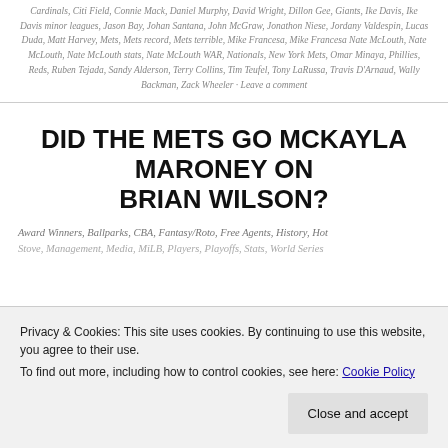Cardinals, Citi Field, Connie Mack, Daniel Murphy, David Wright, Dillon Gee, Giants, Ike Davis, Ike Davis minor leagues, Jason Bay, Johan Santana, John McGraw, Jonathon Niese, Jordany Valdespin, Lucas Duda, Matt Harvey, Mets, Mets record, Mets terrible, Mike Francesa, Mike Francesa Nate McLouth, Nate McLouth, Nate McLouth stats, Nate McLouth WAR, Nationals, New York Mets, Omar Minaya, Phillies, Reds, Ruben Tejada, Sandy Alderson, Terry Collins, Tim Teufel, Tony LaRussa, Travis D'Arnaud, Wally Backman, Zack Wheeler · Leave a comment
DID THE METS GO MCKAYLA MARONEY ON BRIAN WILSON?
Award Winners, Ballparks, CBA, Fantasy/Roto, Free Agents, History, Hot
Stove, Management, Media, MiLB, Players, Playoffs, Stats, World Series
Privacy & Cookies: This site uses cookies. By continuing to use this website, you agree to their use. To find out more, including how to control cookies, see here: Cookie Policy